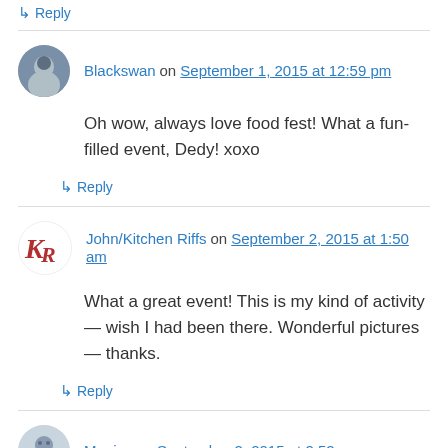↳ Reply
Blackswan on September 1, 2015 at 12:59 pm
Oh wow, always love food fest! What a fun-filled event, Dedy! xoxo
↳ Reply
John/Kitchen Riffs on September 2, 2015 at 1:50 am
What a great event! This is my kind of activity — wish I had been there. Wonderful pictures — thanks.
↳ Reply
Monica on September 2, 2015 at 2:52 am